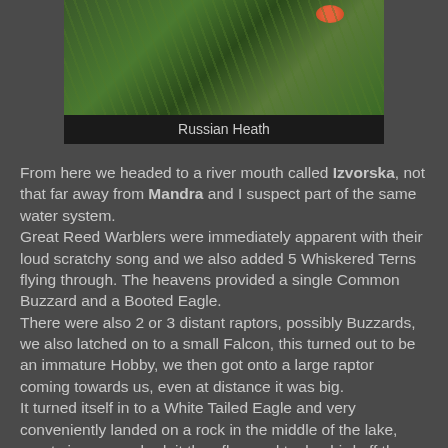[Figure (photo): Close-up photograph of a Russian Heath butterfly resting on green grass stems]
Russian Heath
From here we headed to a river mouth called Izvorska, not that far away from Mandra and I suspect part of the same water system.
Great Reed Warblers were immediately apparent with their loud scratchy song and we also added 5 Whiskered Terns flying through. The heavens provided a single Common Buzzard and a Booted Eagle.
There were also 2 or 3 distant raptors, possibly Buzzards, we also latched on to a small Falcon, this turned out to be an immature Hobby, we then got onto a large raptor coming towards us, even at distance it was big.
It turned itself in to a White Tailed Eagle and very conveniently landed on a rock in the middle of the lake, great views were had, it then flew and took a bird off the top of the water, possibly a Coot.